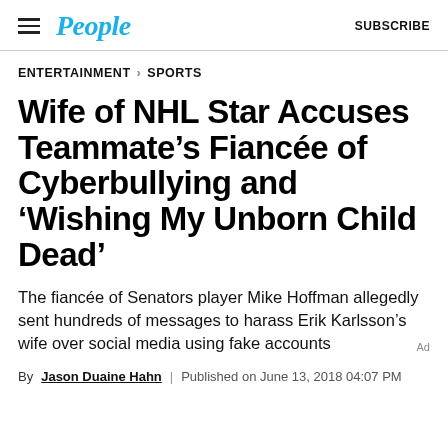People | SUBSCRIBE
ENTERTAINMENT > SPORTS
Wife of NHL Star Accuses Teammate’s Fiancée of Cyberbullying and ‘Wishing My Unborn Child Dead’
The fiancée of Senators player Mike Hoffman allegedly sent hundreds of messages to harass Erik Karlsson’s wife over social media using fake accounts
By Jason Duaine Hahn | Published on June 13, 2018 04:07 PM